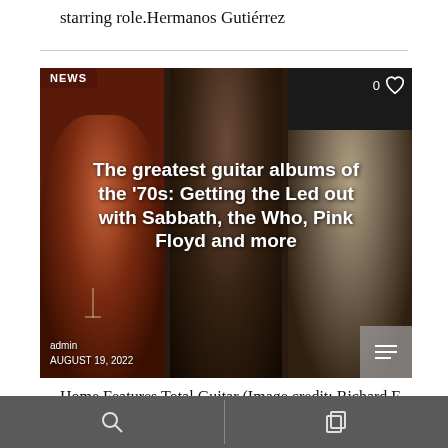starring role.Hermanos Gutiérrez
[Figure (photo): Composite image of three rock guitarists performing live, overlaid with article headline. Left panel: guitarist with cross necklace (Tony Iommi / Black Sabbath era). Center panel: guitarist with long dark hair playing guitar (Jimmy Page / Led Zeppelin era). Right panel: guitarist in light shirt playing guitar. Labels: NEWS badge top left, heart icon top right with 0, article title overlaid center, admin / AUGUST 19, 2022 bottom left, menu icon bottom right.]
The greatest guitar albums of the '70s: Getting the Led out with Sabbath, the Who, Pink Floyd and more
Home Features Total Guitar (Image credit: Richard E.